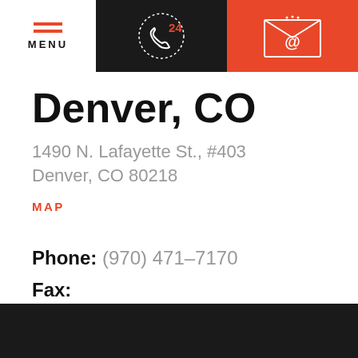[Figure (infographic): Navigation header bar with three sections: hamburger menu with 'MENU' label (white background), 24-hour phone icon (dark background), and email/@ icon (orange background)]
Denver, CO
1490 N. Lafayette St., #403
Denver, CO 80218
MAP
Phone: (970) 471-7170
Fax: